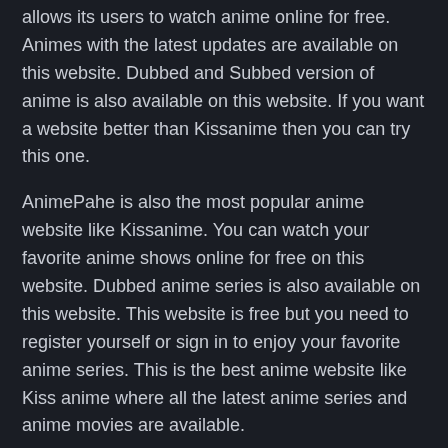allows its users to watch anime online for free. Animes with the latest updates are available on this website. Dubbed and Subbed version of anime is also available on this website. If you want a website better than Kissanime then you can try this one.
AnimePahe is also the most popular anime website like Kissanime. You can watch your favorite anime shows online for free on this website. Dubbed anime series is also available on this website. This website is free but you need to register yourself or sign in to enjoy your favorite anime series. This is the best anime website like Kiss anime where all the latest anime series and anime movies are available.
The benefit of watching animes on Kiss anime
Kissanime is the most popular anime website. Kiss anime website allows its users to watch anime series online for free.